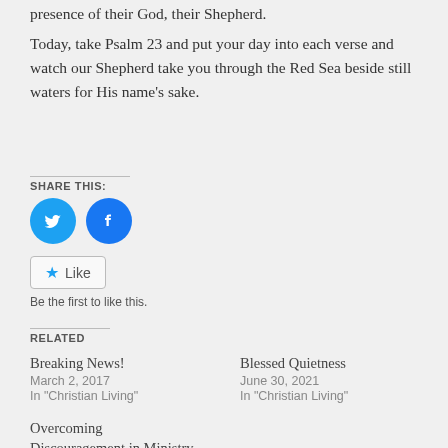presence of their God, their Shepherd.
Today, take Psalm 23 and put your day into each verse and watch our Shepherd take you through the Red Sea beside still waters for His name's sake.
SHARE THIS:
[Figure (other): Twitter and Facebook share icon buttons (blue circles with white bird and f icons)]
Like
Be the first to like this.
RELATED
Breaking News!
March 2, 2017
In "Christian Living"
Blessed Quietness
June 30, 2021
In "Christian Living"
Overcoming Discouragement in Ministry